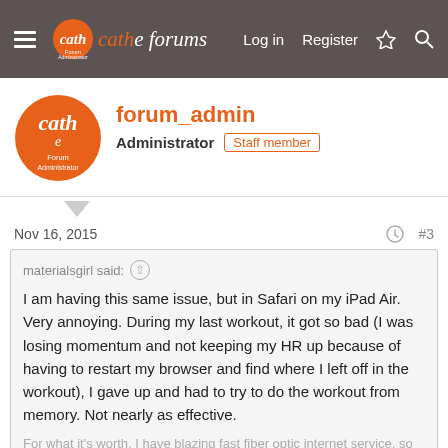cath forums — Log in  Register
forum_admin
Administrator  Staff member
Nov 16, 2015  #3
materialsgirl said:
I am having this same issue, but in Safari on my iPad Air. Very annoying. During my last workout, it got so bad (I was losing momentum and not keeping my HR up because of having to restart my browser and find where I left off in the workout), I gave up and had to try to do the workout from memory. Not nearly as effective.
For what it's worth, I have blazing fast fiber optic internet service, so internet speed is NOT the is...
Click to expand...
The Current online Workout Blender is not designed for an iPad, hence the reason you're having a problem. It will only work properly on a computer. Apple mobile devices stopped allowing